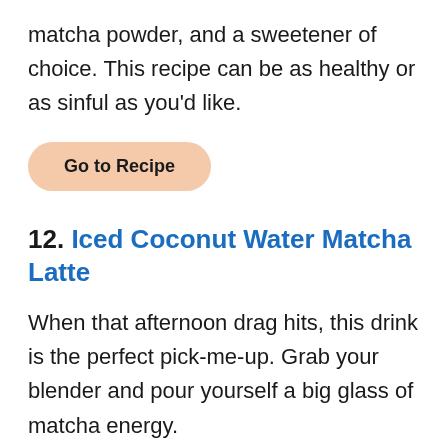matcha powder, and a sweetener of choice. This recipe can be as healthy or as sinful as you'd like.
Go to Recipe
12. Iced Coconut Water Matcha Latte
When that afternoon drag hits, this drink is the perfect pick-me-up. Grab your blender and pour yourself a big glass of matcha energy.